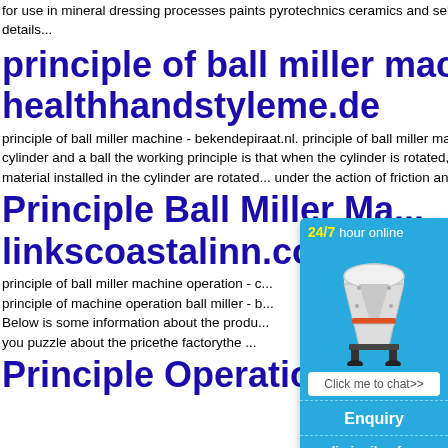for use in mineral dressing processes paints pyrotechnics ceramics and selective laser the effect of ball 44 . details...
principle of ball miller machine - healthhandstyleme.de
principle of ball miller machine - bekendepiraat.nl. principle of ball miller machine. The ball mill consists of a metal cylinder and a ball the working principle is that when the cylinder is rotated, the grinding body ball and the obje... material installed in the cylinder are rotated... under the action of friction and centrifugal f... ge
Principle Ball Miller Ma... linkscoastalinn.co.za
principle of ball miller machine operation - c... principle of machine operation ball miller - b... Below is some information about the produ... you puzzle about the pricethe factorythe ...
Principle Operation Of Machine-ball Mill
[Figure (infographic): Blue ad widget showing '24/7 hour online' with an image of a cone crusher machine, a 'Click me to chat>>' button, an 'Enquiry' section, and 'limingjlmofen' text.]